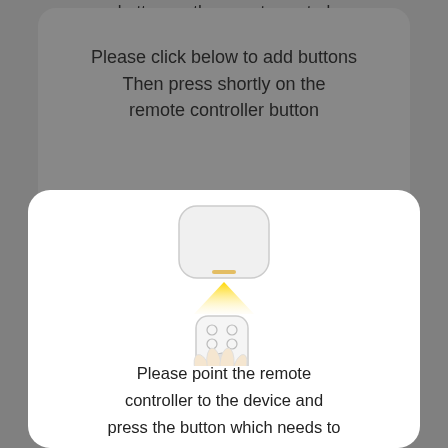button on the remote control
Please click below to add buttons
Then press shortly on the remote controller button
[Figure (illustration): Diagram showing a square smart button device on top, a yellow downward-pointing arrow (signal/IR beam), and a hand holding a remote controller below. Illustrates pointing the remote at the device.]
Please point the remote controller to the device and press the button which needs to be learned. (surplus4s)